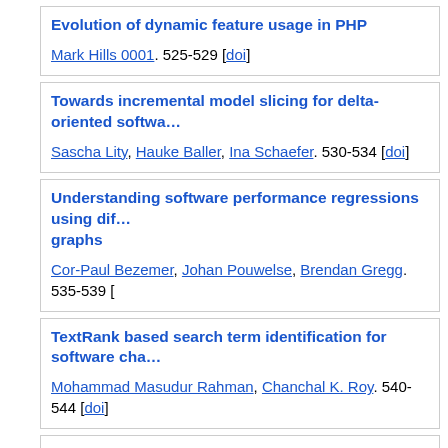Evolution of dynamic feature usage in PHP. Mark Hills 0001. 525-529 [doi]
Towards incremental model slicing for delta-oriented softwa... Sascha Lity, Hauke Baller, Ina Schaefer. 530-534 [doi]
Understanding software performance regressions using dif... graphs. Cor-Paul Bezemer, Johan Pouwelse, Brendan Gregg. 535-539 [doi]
TextRank based search term identification for software cha... Mohammad Masudur Rahman, Chanchal K. Roy. 540-544 [doi]
Query expansion via WordNet for effective code search. Meili Lu, Xiaobing Sun, Shaowei Wang, David Lo, Yucong Duan
Exploring the use of labels to categorize issues in Open-So... projects